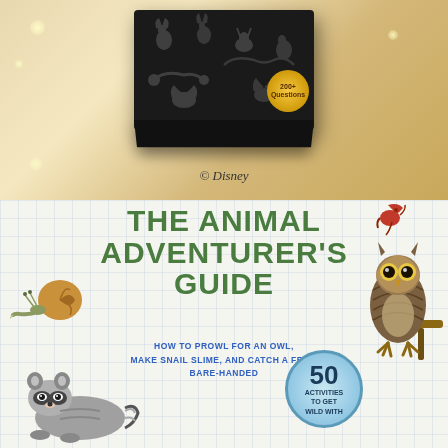[Figure (photo): Disney black box product with silhouette characters on it, gold circular badge showing '200 questions', on a golden/tan background]
© Disney
[Figure (photo): Book cover: 'The Animal Adventurer's Guide - How to Prowl for an Owl, Make Snail Slime, and Catch a Frog Bare-Handed' with illustrations of a snail, owl, raccoon, cardinal, and a badge reading '50 Activities to Get Wild With']
The Animal Adventurer's Guide
How to Prowl for an Owl, Make Snail Slime, and Catch a Frog Bare-Handed
50 Activities to Get Wild With